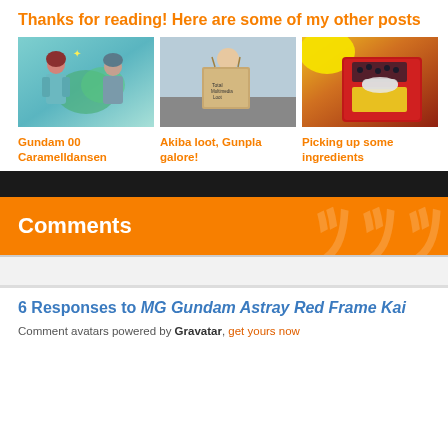Thanks for reading! Here are some of my other posts
[Figure (photo): Anime-style illustration of two characters in teal/grey military outfits against a green leafy background]
Gundam 00 Caramelldansen
[Figure (photo): A young man holding a large brown paper bag in a shopping area]
Akiba loot, Gunpla galore!
[Figure (photo): Close-up of a hand holding a red package of ingredients with a yellow balloon in background]
Picking up some ingredients
Comments
6 Responses to MG Gundam Astray Red Frame Kai
Comment avatars powered by Gravatar, get yours now